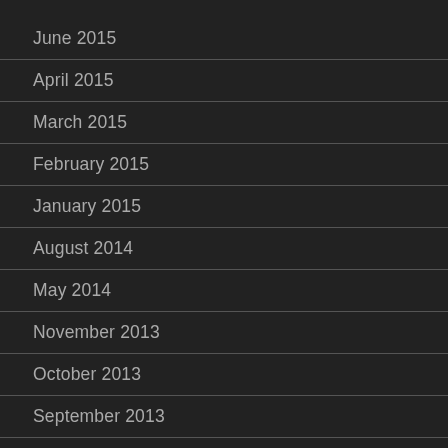June 2015
April 2015
March 2015
February 2015
January 2015
August 2014
May 2014
November 2013
October 2013
September 2013
August 2013